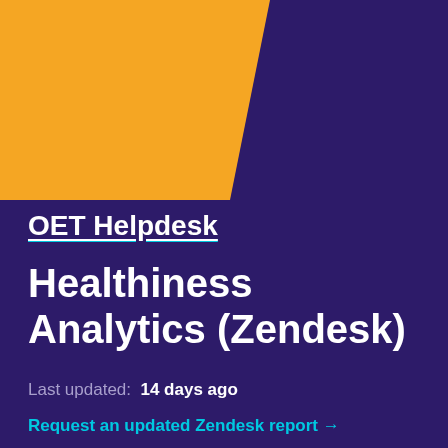[Figure (illustration): Orange trapezoidal decorative shape in top-left corner on dark purple background]
OET Helpdesk
Healthiness Analytics (Zendesk)
Last updated:  14 days ago
Request an updated Zendesk report →